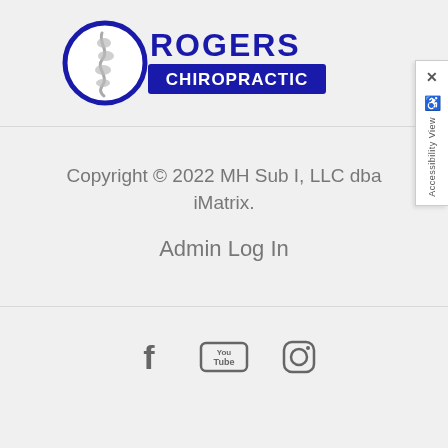[Figure (logo): Rogers Chiropractic logo with blue circle containing spine graphic and text ROGERS CHIROPRACTIC]
Copyright © 2022 MH Sub I, LLC dba iMatrix.
Admin Log In
[Figure (other): Social media icons: Facebook, YouTube, Instagram]